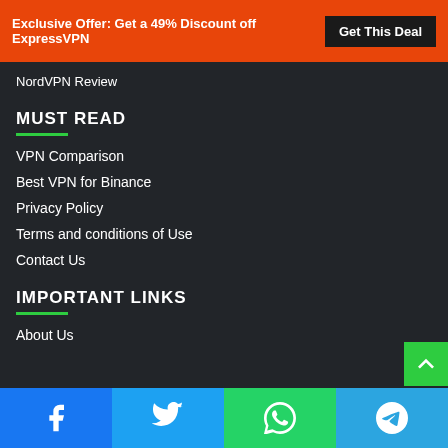Exclusive Offer: Get a 49% Discount off ExpressVPN | Get This Deal
NordVPN Review
MUST READ
VPN Comparison
Best VPN for Binance
Privacy Policy
Terms and conditions of Use
Contact Us
IMPORTANT LINKS
About Us
Facebook | Twitter | WhatsApp | Telegram